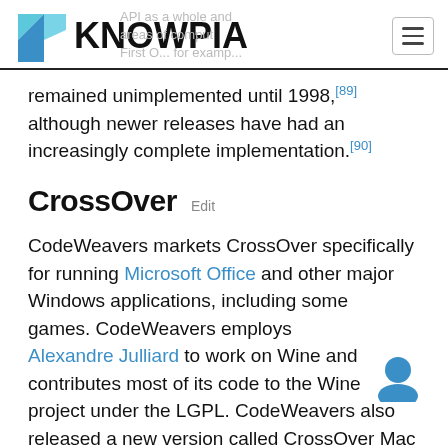KNOWPIA
remained unimplemented until 1998,[89] although newer releases have had an increasingly complete implementation.[90]
CrossOver  Edit
CodeWeavers markets CrossOver specifically for running Microsoft Office and other major Windows applications, including some games. CodeWeavers employs Alexandre Julliard to work on Wine and contributes most of its code to the Wine project under the LGPL. CodeWeavers also released a new version called CrossOver Mac for Intel-based Apple Macintosh computers on 10 January 2007.[91]
As of 2012, CrossOver includes the functionality of